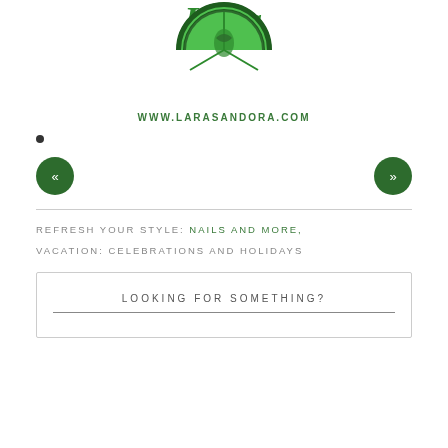[Figure (logo): Lara Sandora logo with cursive 'Lara' text above a green lime/citrus slice graphic, with URL www.larasandora.com below]
•
[Figure (infographic): Navigation row with left double-chevron button and right double-chevron button, both dark green circles]
REFRESH YOUR STYLE: NAILS AND MORE,
VACATION: CELEBRATIONS AND HOLIDAYS
LOOKING FOR SOMETHING?